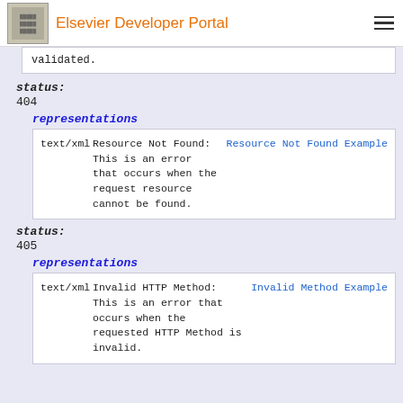Elsevier Developer Portal
validated.
status:
404
representations
|  | Description | Link |
| --- | --- | --- |
| text/xml | Resource Not Found: This is an error that occurs when the request resource cannot be found. | Resource Not Found Example |
status:
405
representations
|  | Description | Link |
| --- | --- | --- |
| text/xml | Invalid HTTP Method: This is an error that occurs when the requested HTTP Method is invalid. | Invalid Method Example |